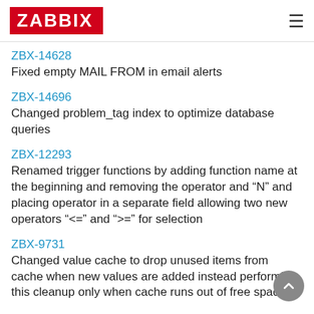ZABBIX
ZBX-14628
Fixed empty MAIL FROM in email alerts
ZBX-14696
Changed problem_tag index to optimize database queries
ZBX-12293
Renamed trigger functions by adding function name at the beginning and removing the operator and "N" and placing operator in a separate field allowing two new operators "<=" and ">=" for selection
ZBX-9731
Changed value cache to drop unused items from cache when new values are added instead performing this cleanup only when cache runs out of free space